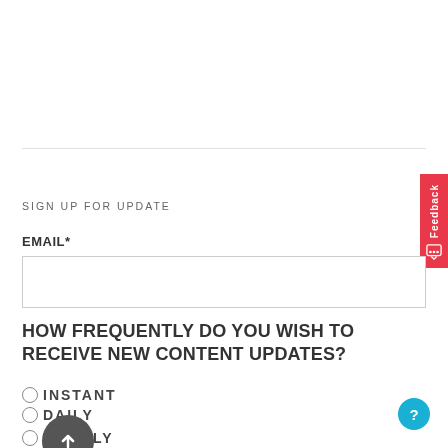SIGN UP FOR UPDATE
EMAIL*
HOW FREQUENTLY DO YOU WISH TO RECEIVE NEW CONTENT UPDATES?
INSTANT
DAILY
WEEKLY